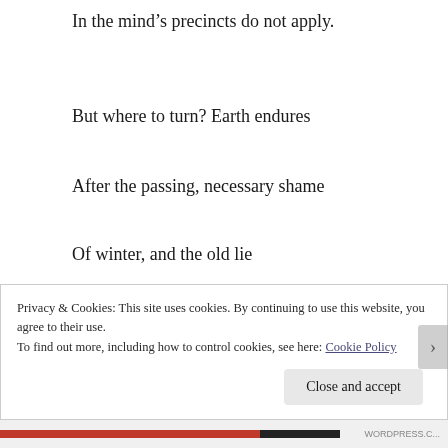In the mind’s precincts do not apply.
But where to turn? Earth endures
After the passing, necessary shame
Of winter, and the old lie
Of green places beckons me still
Privacy & Cookies: This site uses cookies. By continuing to use this website, you agree to their use.
To find out more, including how to control cookies, see here: Cookie Policy
Close and accept